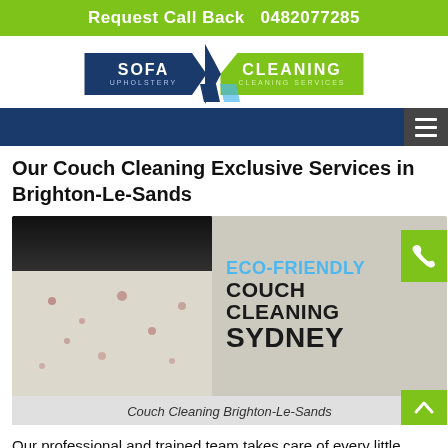Request Call Back   0482077285
[Figure (logo): Sofa Cleaning logo with dark blue left panel reading SOFA UPHOLSTERY and green right panel reading CLEANING CLEANING SERVICES, with a slash divider and arrow below]
Our Couch Cleaning Exclusive Services in Brighton-Le-Sands
[Figure (photo): Left half shows close-up of spotted fabric couch being cleaned with a dark vacuum nozzle. Right half shows text ECO-FRIENDLY COUCH CLEANING SYDNEY on a grey background. A green phone button is overlaid on the right edge.]
Couch Cleaning Brighton-Le-Sands
Our professional and trained team takes care of every little detail before and during the cleaning process so that no dirt stains or dust remains. Ranging from basic couch cleaning Brighton-Le-Sands to the latest...